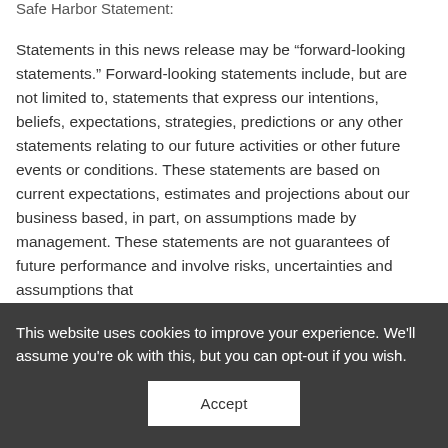Safe Harbor Statement:
Statements in this news release may be “forward-looking statements.” Forward-looking statements include, but are not limited to, statements that express our intentions, beliefs, expectations, strategies, predictions or any other statements relating to our future activities or other future events or conditions. These statements are based on current expectations, estimates and projections about our business based, in part, on assumptions made by management. These statements are not guarantees of future performance and involve risks, uncertainties and assumptions that
This website uses cookies to improve your experience. We'll assume you're ok with this, but you can opt-out if you wish.
Accept